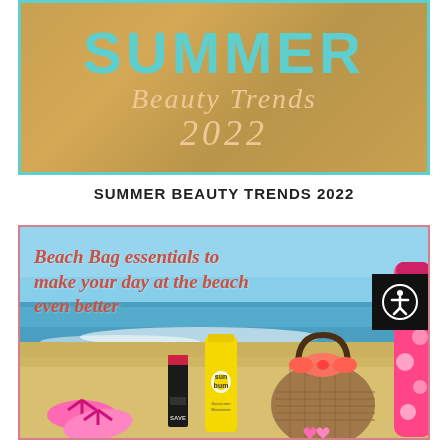[Figure (illustration): Summer Beauty Trends 2022 banner with golden/tan background and teal border. Large teal text 'SUMMER' at top, cursive cream/gold text 'Beauty Trends' below, and '2022' in cursive gold numerals.]
SUMMER BEAUTY TRENDS 2022
[Figure (photo): Beach scene photo with ocean waves and sandy beach in background. Text overlay in bold italic red-brown: 'Beach Bag essentials to make your day at the beach even better'. Foreground shows pink flip flops, black lipstick/makeup product labeled SAVE, yellow Sun Bum sunscreen spray bottle, woven straw beach bag with coral/pink bow and pink heart charms, and a pink water bottle with circle pattern. Pink-framed border around image. Accessibility icon badge in bottom right corner.]